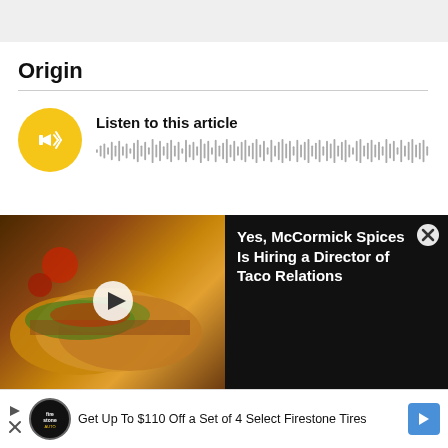Origin
[Figure (other): Audio player with yellow circular play button and waveform visualization. Label reads 'Listen to this article'.]
In mid-2020, U.S. news analysts were grappling with covering the COVID-19 coronavirus
[Figure (photo): Video ad overlay showing tacos image on left with play button, and dark panel on right with text: 'Yes, McCormick Spices Is Hiring a Director of Taco Relations' and a close (X) button.]
Get Up To $110 Off a Set of 4 Select Firestone Tires